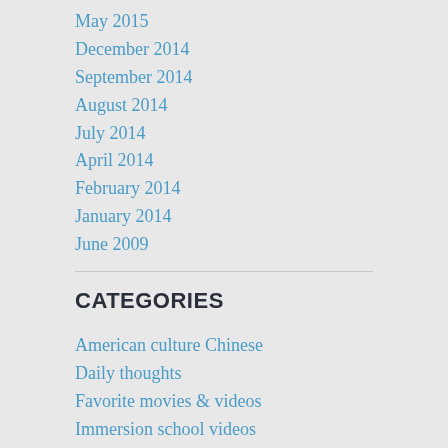May 2015
December 2014
September 2014
August 2014
July 2014
April 2014
February 2014
January 2014
June 2009
CATEGORIES
American culture Chinese
Daily thoughts
Favorite movies & videos
Immersion school videos
Q&A
Resources
Subject languages
Uncategorized